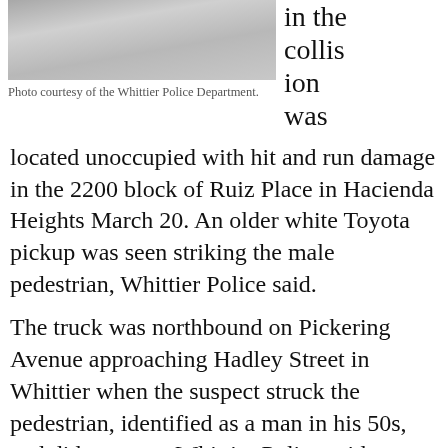[Figure (photo): Grayscale photo of a road or pavement surface, partially visible at top of page]
Photo courtesy of the Whittier Police Department.
in the collision was
located unoccupied with hit and run damage in the 2200 block of Ruiz Place in Hacienda Heights March 20. An older white Toyota pickup was seen striking the male pedestrian, Whittier Police said.
The truck was northbound on Pickering Avenue approaching Hadley Street in Whittier when the suspect struck the pedestrian, identified as a man in his 50s, and did not stop, Whittier Police said.
Local media outlets identified the victim as 58-year-old Victor Gallegos.